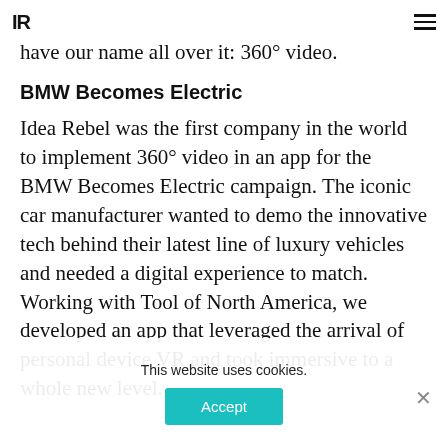IR
predecessor – a technology that just happens to have our name all over it: 360° video.
BMW Becomes Electric
Idea Rebel was the first company in the world to implement 360° video in an app for the BMW Becomes Electric campaign. The iconic car manufacturer wanted to demo the innovative tech behind their latest line of luxury vehicles and needed a digital experience to match. Working with Tool of North America, we developed an app that leveraged the arrival of personal device VR and took immersive to a whole new level.
This website uses cookies.